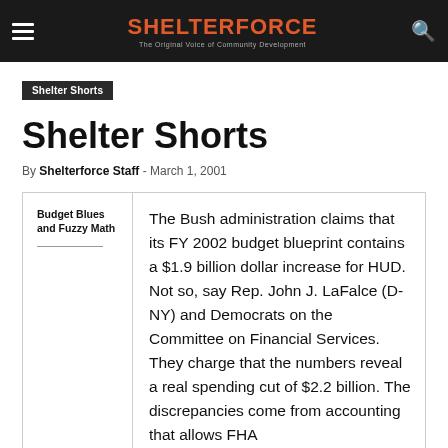SHELTERFORCE — The Original Voice of Community Development
Shelter Shorts
Shelter Shorts
By Shelterforce Staff - March 1, 2001
Budget Blues and Fuzzy Math
The Bush administration claims that its FY 2002 budget blueprint contains a $1.9 billion dollar increase for HUD. Not so, say Rep. John J. LaFalce (D-NY) and Democrats on the Committee on Financial Services. They charge that the numbers reveal a real spending cut of $2.2 billion. The discrepancies come from accounting that allows FHA